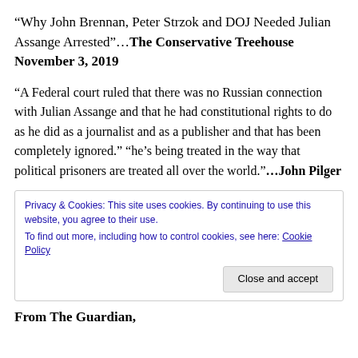“Why John Brennan, Peter Strzok and DOJ Needed Julian Assange Arrested”…The Conservative Treehouse November 3, 2019
“A Federal court ruled that there was no Russian connection with Julian Assange and that he had constitutional rights to do as he did as a journalist and as a publisher and that has been completely ignored.” “he’s being treated in the way that political prisoners are treated all over the world.”…John Pilger
Privacy & Cookies: This site uses cookies. By continuing to use this website, you agree to their use. To find out more, including how to control cookies, see here: Cookie Policy
From The Guardian,